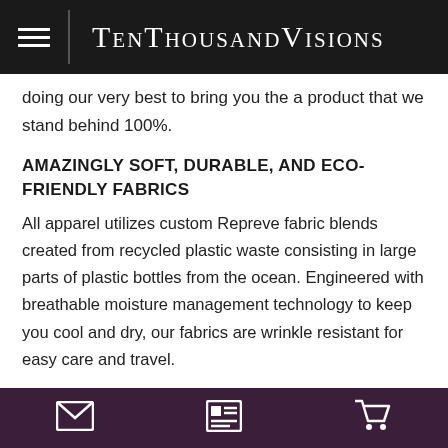TenThousandVisions
doing our very best to bring you the a product that we stand behind 100%.
AMAZINGLY SOFT, DURABLE, AND ECO-FRIENDLY FABRICS
All apparel utilizes custom Repreve fabric blends created from recycled plastic waste consisting in large parts of plastic bottles from the ocean. Engineered with breathable moisture management technology to keep you cool and dry, our fabrics are wrinkle resistant for easy care and travel.
ECO FRIENDLY INKS
The...
mail | news | cart